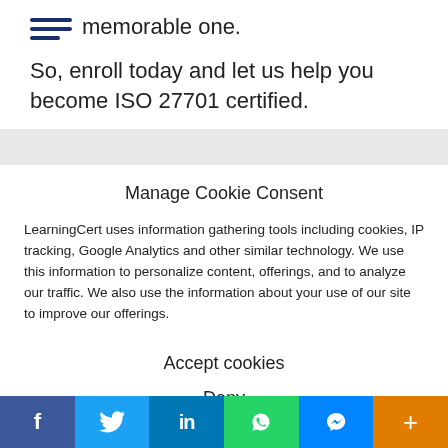memorable one.
So, enroll today and let us help you become ISO 27701 certified.
Manage Cookie Consent
LearningCert uses information gathering tools including cookies, IP tracking, Google Analytics and other similar technology. We use this information to personalize content, offerings, and to analyze our traffic. We also use the information about your use of our site to improve our offerings.
Accept cookies
Deny
[Figure (other): Social media sharing bar with Facebook, Twitter, LinkedIn, WhatsApp, Messenger, and plus icons]